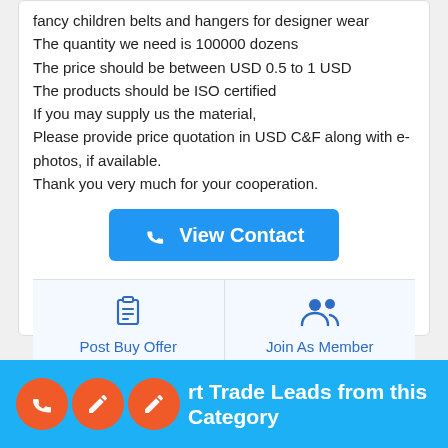fancy children belts and hangers for designer wear
The quantity we need is 100000 dozens
The price should be between USD 0.5 to 1 USD
The products should be ISO certified
If you may supply us the material,
Please provide price quotation in USD C&F along with e-photos, if available.
Thank you very much for your cooperation.
[Figure (screenshot): Blue 'View Contact' button with phone icon]
[Figure (screenshot): Two action buttons: 'Post Buy Offer' with clipboard icon and 'Join As Member' with people icon, on light blue background]
[Figure (screenshot): Blue bottom bar with text 'More Import Trade Leads from this Category' and three orange circular icon buttons (phone, edit, edit)]